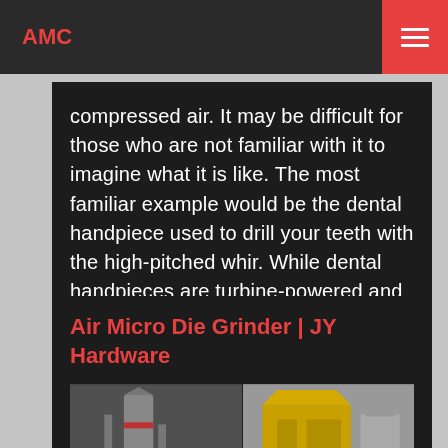AMC
compressed air. It may be difficult for those who are not familiar with it to imagine what it is like. The most familiar example would be the dental handpiece used to drill your teeth with the high-pitched whir. While dental handpieces are turbine-powered and rotate at speeds of 300,000 …
Air Micro Die Grinder | JY Hardware
[Figure (photo): Industrial grinder machinery: left shows a grey/silver vertical grinding tower mill, right shows yellow industrial dust collection or grinding equipment in a factory setting.]